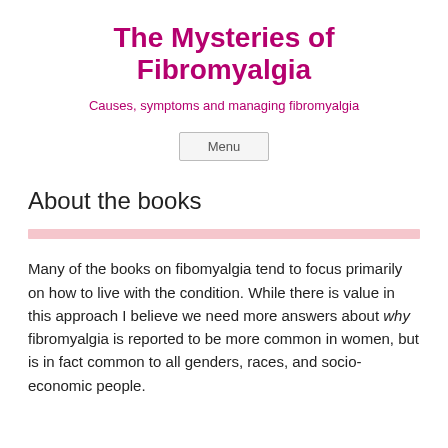The Mysteries of Fibromyalgia
Causes, symptoms and managing fibromyalgia
Menu
About the books
Many of the books on fibomyalgia tend to focus primarily on how to live with the condition. While there is value in this approach I believe we need more answers about why fibromyalgia is reported to be more common in women, but is in fact common to all genders, races, and socio-economic people.